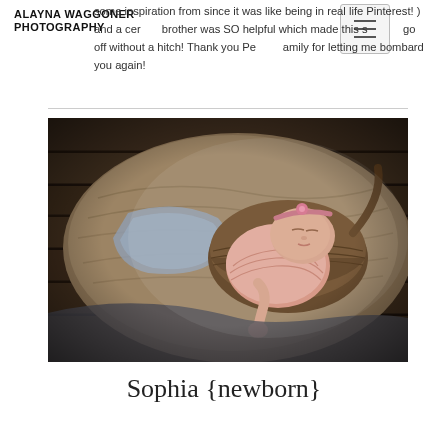ALAYNA WAGGONER PHOTOGRAPHY
some inspiration from since it was like being in real life Pinterest! ) and a certain brother was SO helpful which made this session go off without a hitch! Thank you Penley family for letting me bombard you again!
[Figure (photo): Newborn baby girl named Sophia sleeping on textured blankets, wearing a pink wrap and headband, photographed from above on a wooden floor]
Sophia {newborn}